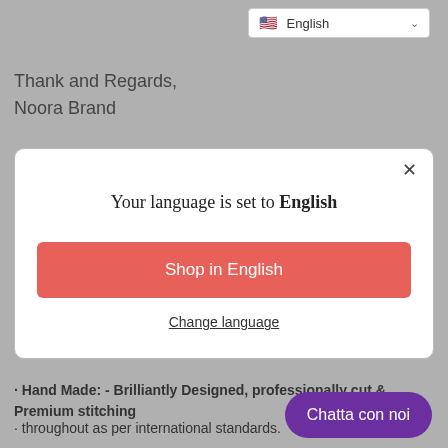[Figure (screenshot): Language selector dropdown showing English with US flag and chevron]
Thank and Regards,
Noora Brand
[Figure (screenshot): Modal dialog: 'Your language is set to English' with 'Shop in English' red button and 'Change language' underlined link. Close X button top right.]
· Hand Made: - Brilliantly Designed, professionally cut & Premium stitching
· throughout as per international standards.
Chatta con noi